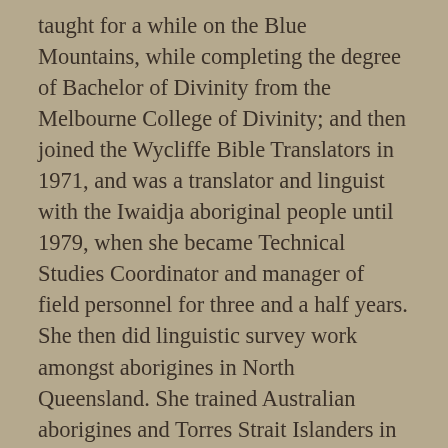taught for a while on the Blue Mountains, while completing the degree of Bachelor of Divinity from the Melbourne College of Divinity; and then joined the Wycliffe Bible Translators in 1971, and was a translator and linguist with the Iwaidja aboriginal people until 1979, when she became Technical Studies Coordinator and manager of field personnel for three and a half years. She then did linguistic survey work amongst aborigines in North Queensland. She trained Australian aborigines and Torres Strait Islanders in the principles of translation. Dick Pym's son, John Pym [SL1212], trained in Civil Engineering at Sydney Technical College. He subsequently gained the Local Government Engineer's Certificate and is a Member of the Institute of Engineers of Australia. He worked for the Commonwealth Water Conservation and Irrigation Commission as a hydrographic engineer at Tumut from 1949 to 1959. He was Senior Assistant Engineer for the Macleay River County Council in 1959 and 1960, and County Engineer for the Clarence River County Council from 1960 to 1965. In these two positions he was responsible for flood